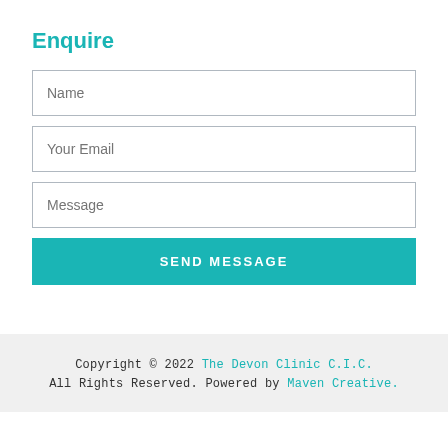Enquire
Name
Your Email
Message
SEND MESSAGE
Copyright © 2022 The Devon Clinic C.I.C. All Rights Reserved. Powered by Maven Creative.